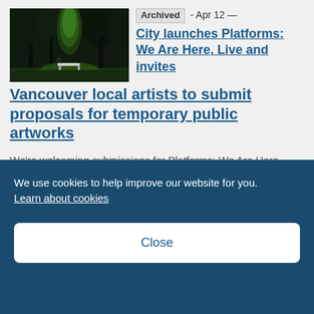[Figure (photo): Night-time park scene with illuminated green tree and bench on grass, dark background]
Archived - Apr 12 — City launches Platforms: We Are Here, Live and invites Vancouver local artists to submit proposals for temporary public artworks
We're welcoming submissions for Platforms: We Are Here, Live, a public art program which will
We use cookies to help improve our website for you. Learn about cookies
Close